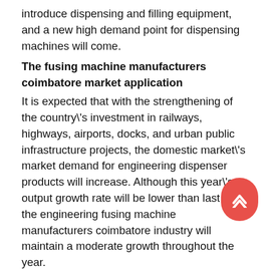introduce dispensing and filling equipment, and a new high demand point for dispensing machines will come.
The fusing machine manufacturers coimbatore market application
It is expected that with the strengthening of the country\'s investment in railways, highways, airports, docks, and urban public infrastructure projects, the domestic market\'s market demand for engineering dispenser products will increase. Although this year\'s output growth rate will be lower than last year, the engineering fusing machine manufacturers coimbatore industry will maintain a moderate growth throughout the year.
Judging from the current development prospects of major instrument products, it is expected that the market demand for investment instruments will increase. Driven by the reform of the housing system, it is expected that the demand for various water meters and electric meters will